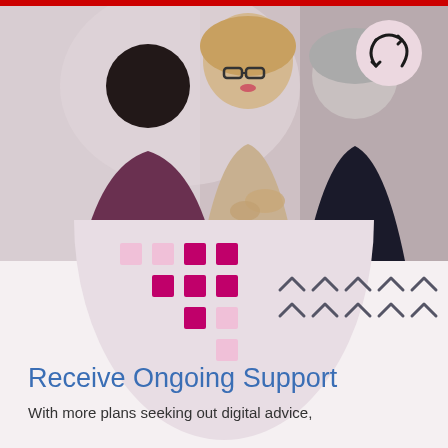[Figure (photo): Three women in a professional setting having a conversation. One woman with glasses and blonde hair is in the center smiling, another woman with dark hair is on the left facing away, and an older woman with short gray hair is on the right. A circular refresh/loop icon appears in the top right corner overlaid on the photo. Below the photo are decorative magenta/pink dot grid patterns and arrow chevron patterns on a light pinkish-gray background.]
Receive Ongoing Support
With more plans seeking out digital advice,